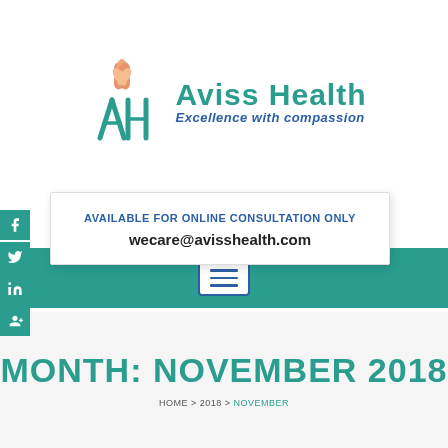[Figure (logo): Aviss Health logo with teal AH monogram and orange lotus flower, with tagline 'Excellence with compassion']
AVAILABLE FOR ONLINE CONSULTATION ONLY
wecare@avisshealth.com
MONTH: NOVEMBER 2018
HOME > 2018 > NOVEMBER